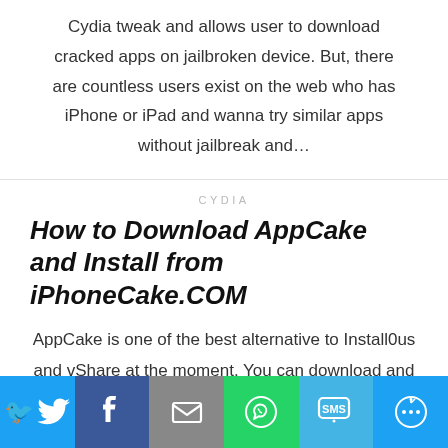Cydia tweak and allows user to download cracked apps on jailbroken device. But, there are countless users exist on the web who has iPhone or iPad and wanna try similar apps without jailbreak and…
CYDIA
How to Download AppCake and Install from iPhoneCake.COM
AppCake is one of the best alternative to Install0us and vShare at the moment. You can download and install AppCake once you've
[Figure (infographic): Social share bar with Twitter, Facebook, Email, WhatsApp, SMS, and More icons]